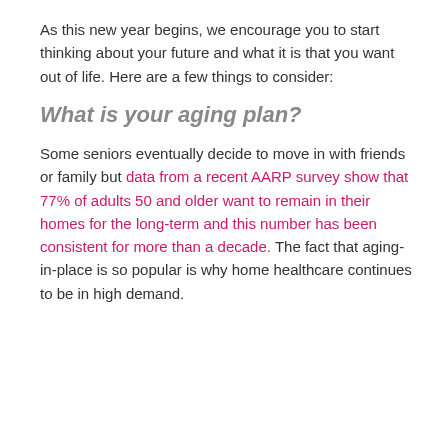As this new year begins, we encourage you to start thinking about your future and what it is that you want out of life. Here are a few things to consider:
What is your aging plan?
Some seniors eventually decide to move in with friends or family but data from a recent AARP survey show that 77% of adults 50 and older want to remain in their homes for the long-term and this number has been consistent for more than a decade. The fact that aging-in-place is so popular is why home healthcare continues to be in high demand.